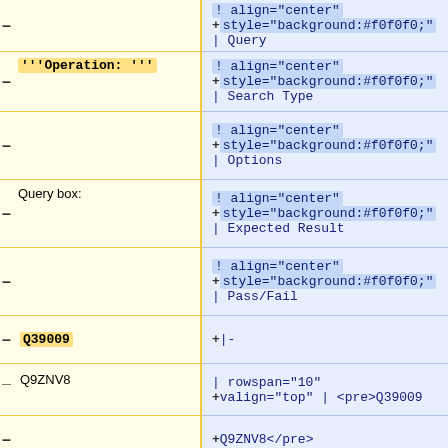| Left Column (diff) | Right Column (diff) |
| --- | --- |
| – | ! align="center"
+style="background:#f0f0f0;"
| Query |
| '''Operation: ''' | ! align="center"
+style="background:#f0f0f0;"
| Search Type |
| – | ! align="center"
+style="background:#f0f0f0;"
| Options |
| Query box: | ! align="center"
+style="background:#f0f0f0;"
| Expected Result |
| – | ! align="center"
+style="background:#f0f0f0;"
| Pass/Fail |
| – Q39009 | +|- |
| Q9ZNV8 | + | rowspan="10" valign="top" | <pre>Q39009 |
| – | +Q9ZNV8</pre> |